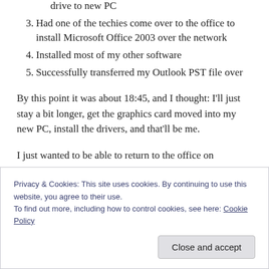drive to new PC
3. Had one of the techies come over to the office to install Microsoft Office 2003 over the network
4. Installed most of my other software
5. Successfully transferred my Outlook PST file over
By this point it was about 18:45, and I thought: I’ll just stay a bit longer, get the graphics card moved into my new PC, install the drivers, and that’ll be me.
I just wanted to be able to return to the office on
Privacy & Cookies: This site uses cookies. By continuing to use this website, you agree to their use.
To find out more, including how to control cookies, see here: Cookie Policy